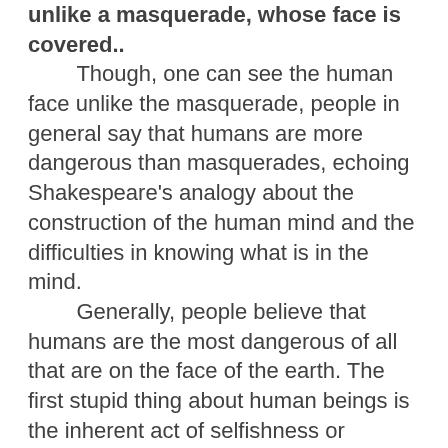unlike a masquerade, whose face is covered.. Though, one can see the human face unlike the masquerade, people in general say that humans are more dangerous than masquerades, echoing Shakespeare's analogy about the construction of the human mind and the difficulties in knowing what is in the mind.
    Generally, people believe that humans are the most dangerous of all that are on the face of the earth. The first stupid thing about human beings is the inherent act of selfishness or greediness, which psychologists say is inborn.
    Because of this natural act of selfishness, it is natural that no human being will leave his or her own problem unattended to give attention to another person's problem, no matter how closely related, and least to talk about a complete stranger.
    But all humans have perfected the act of the masquerade to deceive the public about true intentions,